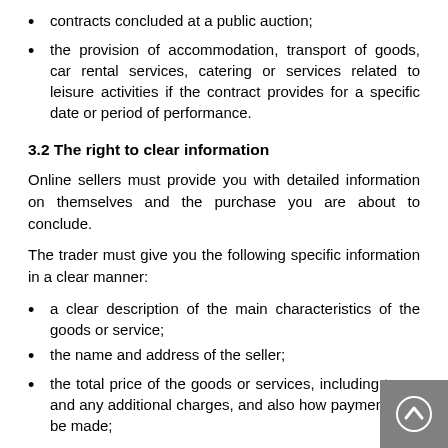contracts concluded at a public auction;
the provision of accommodation, transport of goods, car rental services, catering or services related to leisure activities if the contract provides for a specific date or period of performance.
3.2 The right to clear information
Online sellers must provide you with detailed information on themselves and the purchase you are about to conclude.
The trader must give you the following specific information in a clear manner:
a clear description of the main characteristics of the goods or service;
the name and address of the seller;
the total price of the goods or services, including taxes and any additional charges, and also how payment is to be made;